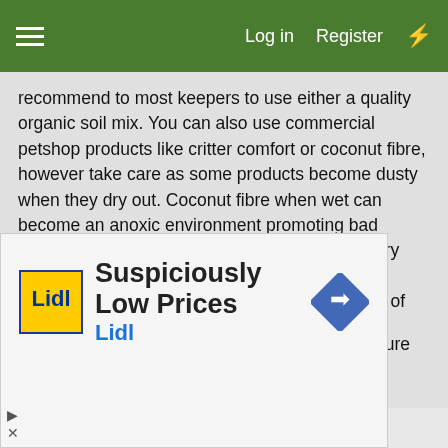≡  Log in  Register  ⚡
recommend to most keepers to use either a quality organic soil mix. You can also use commercial petshop products like critter comfort or coconut fibre, however take care as some products become dusty when they dry out. Coconut fibre when wet can become an anoxic environment promoting bad bacterial growth, whilst when dry can be powdery and irritable to both you and the lizards. Whilst chances are slim, there also exists the potential of impaction from large indigestible material.
Heating and Lighting:
These dragons have a preferred body temperature range under 30c and as such a generally cool environment should be
[Figure (infographic): Advertisement banner for Lidl showing 'Suspiciously Low Prices' tagline with Lidl logo and a blue diamond navigation icon]